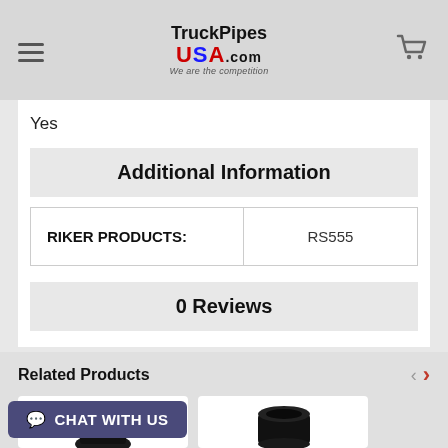[Figure (logo): TruckPipesUSA.com logo with tagline 'We are the competition']
Yes
Additional Information
| RIKER PRODUCTS: | RS555 |
| --- | --- |
0 Reviews
Related Products
[Figure (photo): Black pipe/fitting product thumbnail]
[Figure (photo): Black pipe/fitting product thumbnail]